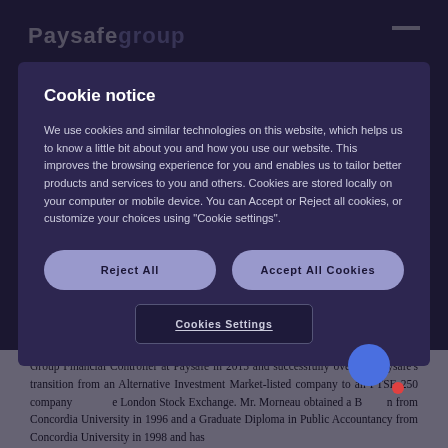Paysafe Group
Cookie notice
We use cookies and similar technologies on this website, which helps us to know a little bit about you and how you use our website. This improves the browsing experience for you and enables us to tailor better products and services to you and others. Cookies are stored locally on your computer or mobile device. You can Accept or Reject all cookies, or customize your choices using "Cookie settings".
Reject All
Accept All Cookies
Cookies Settings
Group Financial Controller at Paysafe in 2015 and successfully oversaw Paysafe's transition from an Alternative Investment Market-listed company to an FTSE 250 company on the London Stock Exchange. Mr. Morneau obtained a B... n from Concordia University in 1996 and a Graduate Diploma in Public Accountancy from Concordia University in 1998 and has